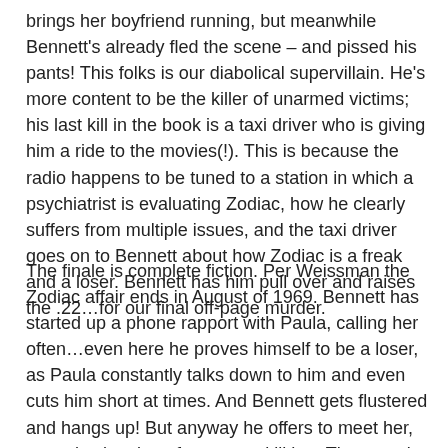brings her boyfriend running, but meanwhile Bennett's already fled the scene – and pissed his pants! This folks is our diabolical supervillain. He's more content to be the killer of unarmed victims; his last kill in the book is a taxi driver who is giving him a ride to the movies(!). This is because the radio happens to be tuned to a station in which a psychiatrist is evaluating Zodiac, how he clearly suffers from multiple issues, and the taxi driver goes on to Bennett about how Zodiac is a freak and a loser. Bennett has him pull over and raises the .22…for our final off-page murder.
The finale is complete fiction. Per Weissman the Zodiac affair ends in August of 1969. Bennett has started up a phone rapport with Paula, calling her often…even here he proves himself to be a loser, as Paula constantly talks down to him and even cuts him short at times. And Bennett gets flustered and hangs up! But anyway he offers to meet her, secretly planning of course to kill her. The meet is to take place upon some steps that lead into Greenwich Village. But as Bennett waits for Paula, he's mugged – and gets in a fight with the mugger, and as he's chasing the dude he runs into the guy's knife and impales himself! Thus Robert Bennett